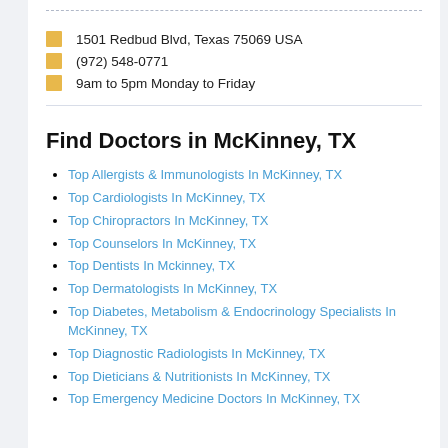1501 Redbud Blvd, Texas 75069 USA
(972) 548-0771
9am to 5pm Monday to Friday
Find Doctors in McKinney, TX
Top Allergists & Immunologists In McKinney, TX
Top Cardiologists In McKinney, TX
Top Chiropractors In McKinney, TX
Top Counselors In McKinney, TX
Top Dentists In Mckinney, TX
Top Dermatologists In McKinney, TX
Top Diabetes, Metabolism & Endocrinology Specialists In McKinney, TX
Top Diagnostic Radiologists In McKinney, TX
Top Dieticians & Nutritionists In McKinney, TX
Top Emergency Medicine Doctors In McKinney, TX